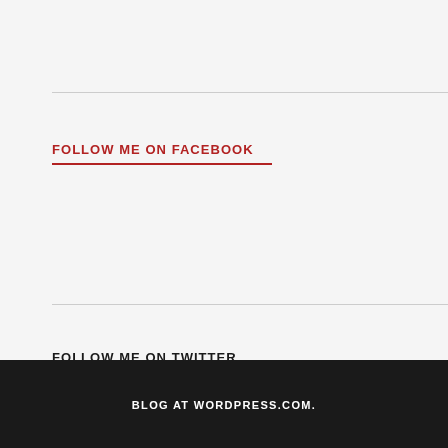FOLLOW ME ON FACEBOOK
FOLLOW ME ON TWITTER
My Tweets
BLOG AT WORDPRESS.COM.